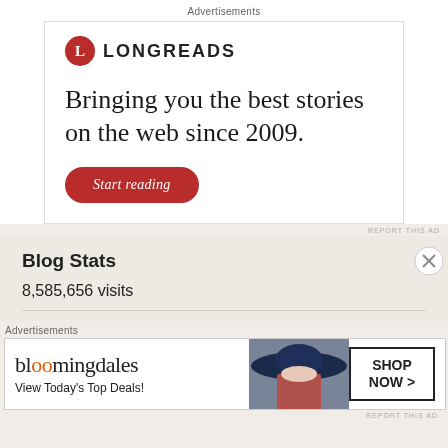Advertisements
[Figure (illustration): Longreads advertisement: logo with red circle containing L, brand name LONGREADS, tagline 'Bringing you the best stories on the web since 2009.' and a red 'Start reading' button]
REPORT THIS AD
Blog Stats
8,585,656 visits
Advertisements
[Figure (illustration): Bloomingdale's advertisement: brand name in stylized font, 'View Today's Top Deals!' text, woman with hat image, SHOP NOW > button]